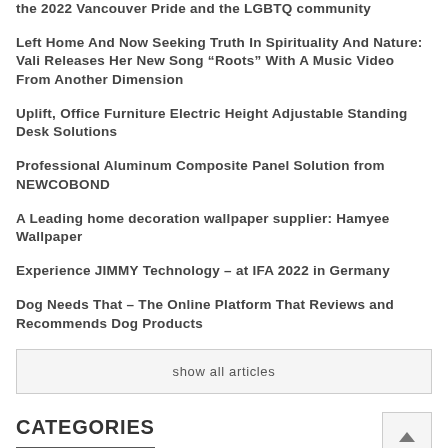the 2022 Vancouver Pride and the LGBTQ community
Left Home And Now Seeking Truth In Spirituality And Nature: Vali Releases Her New Song “Roots” With A Music Video From Another Dimension
Uplift, Office Furniture Electric Height Adjustable Standing Desk Solutions
Professional Aluminum Composite Panel Solution from NEWCOBOND
A Leading home decoration wallpaper supplier: Hamyee Wallpaper
Experience JIMMY Technology – at IFA 2022 in Germany
Dog Needs That – The Online Platform That Reviews and Recommends Dog Products
show all articles
CATEGORIES